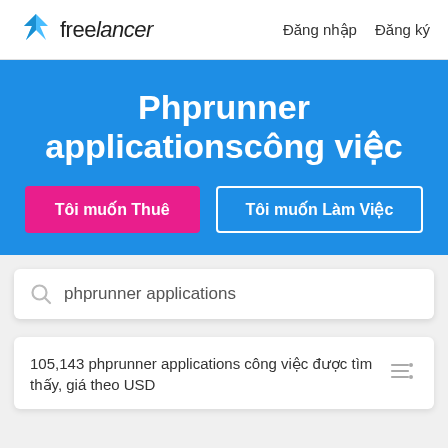freelancer  Đăng nhập  Đăng ký
Phprunner applicationscông việc
Tôi muốn Thuê
Tôi muốn Làm Việc
phprunner applications
105,143 phprunner applications công việc được tìm thấy, giá theo USD